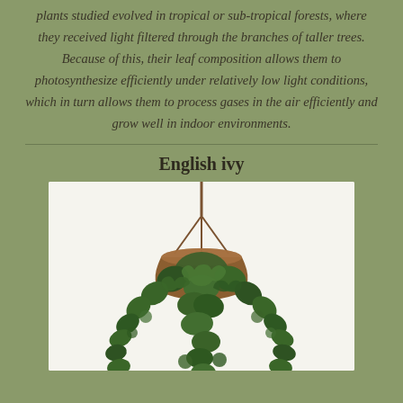plants studied evolved in tropical or sub-tropical forests, where they received light filtered through the branches of taller trees. Because of this, their leaf composition allows them to photosynthesize efficiently under relatively low light conditions, which in turn allows them to process gases in the air efficiently and grow well in indoor environments.
English ivy
[Figure (photo): Photo of an English ivy plant in a hanging basket, showing dark green lobed leaves cascading downward from a wicker hanging basket with a rope hanger, against a white background.]